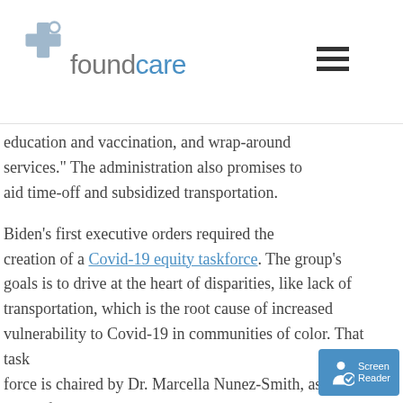foundcare [logo with hamburger menu]
education and vaccination, and wrap-around services.” The administration also promises to aid time-off and subsidized transportation.
Biden’s first executive orders required the creation of a Covid-19 equity taskforce. The group’s goals is to drive at the heart of disparities, like lack of transportation, which is the root cause of increased vulnerability to Covid-19 in communities of color. That task force is chaired by Dr. Marcella Nunez-Smith, associate dean of health equity research at Yale University.
Ensuring people have paid time-off and can access vaccination sites is a “moral imperative”, Nunez-Smith said at a recent Covid-19 taskforce press briefing. “It’s simply the right thing to do to ensure that those who are hardest hit and at greatest risk, have the opportunity to stay safe and